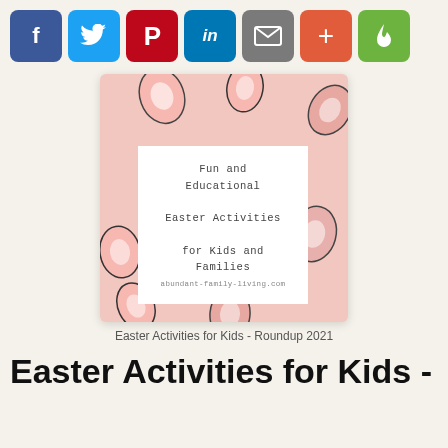[Figure (other): Social media share buttons row: Facebook (blue), Twitter (light blue), Pinterest (red), LinkedIn (dark blue), Email (gray), Plus/More (orange-red), Hotjar/flame (green)]
[Figure (illustration): Pink background image card with decorative Easter egg shapes and a white center box containing text: 'Fun and Educational Easter Activities for Kids and Families' and 'abundant-family-living.com']
Easter Activities for Kids - Roundup 2021
Easter Activities for Kids -